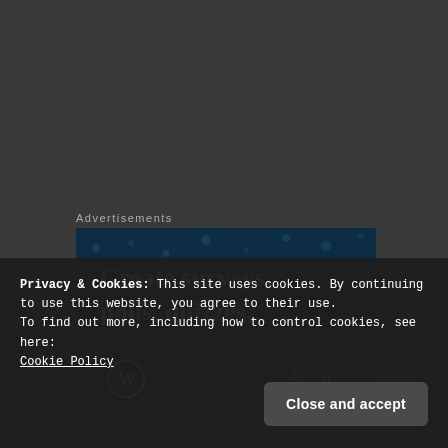Advertisements
[Figure (illustration): Advertisement banner with dark blue background showing dots pattern and text 'Create surveys, polls, quizzes,' with WordPress logo at bottom left and a circular badge at bottom right]
Privacy & Cookies: This site uses cookies. By continuing to use this website, you agree to their use.
To find out more, including how to control cookies, see here:
Cookie Policy
Close and accept